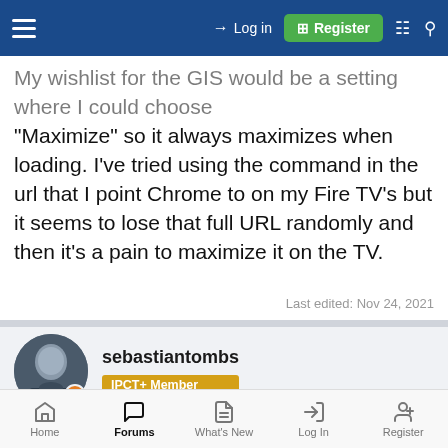Login | Register
My wishlist for the GIS would be a setting where I could choose "Maximize" so it always maximizes when loading. I've tried using the command in the url that I point Chrome to on my Fire TV's but it seems to lose that full URL randomly and then it's a pain to maximize it on the TV.
Last edited: Nov 24, 2021
sebastiantombs
IPCT+ Member
Nov 24, 2021  #3,242
MikeLud1 said: ↑
Home  Forums  What's New  Log In  Register